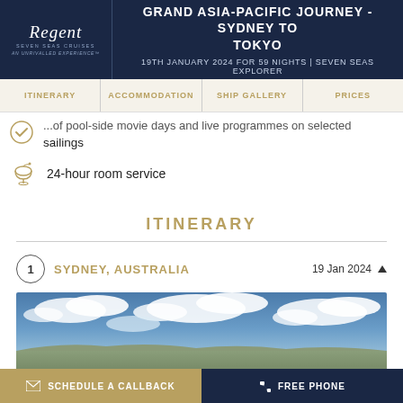GRAND ASIA-PACIFIC JOURNEY - SYDNEY TO TOKYO
19TH JANUARY 2024 FOR 59 NIGHTS | SEVEN SEAS EXPLORER
...of pool-side movie days and live programmes on selected sailings
24-hour room service
ITINERARY
1  SYDNEY, AUSTRALIA  19 Jan 2024 ▲
[Figure (photo): Panoramic photo of Sydney, Australia showing a coastal city skyline with blue sky and white clouds overhead]
SCHEDULE A CALLBACK  |  FREE PHONE